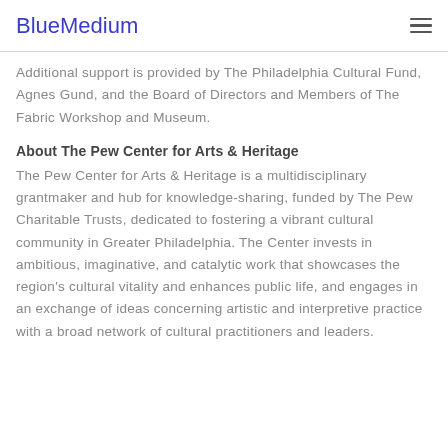BlueMedium
Additional support is provided by The Philadelphia Cultural Fund, Agnes Gund, and the Board of Directors and Members of The Fabric Workshop and Museum.
About The Pew Center for Arts & Heritage
The Pew Center for Arts & Heritage is a multidisciplinary grantmaker and hub for knowledge-sharing, funded by The Pew Charitable Trusts, dedicated to fostering a vibrant cultural community in Greater Philadelphia. The Center invests in ambitious, imaginative, and catalytic work that showcases the region's cultural vitality and enhances public life, and engages in an exchange of ideas concerning artistic and interpretive practice with a broad network of cultural practitioners and leaders.